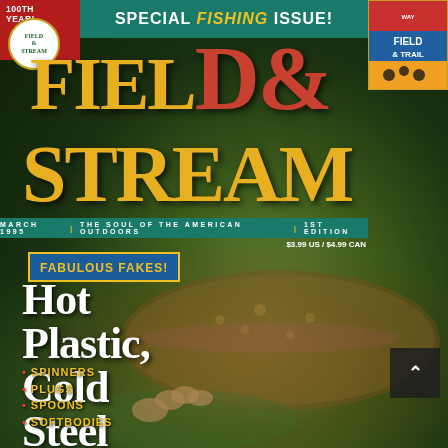SPECIAL FISHING ISSUE!
FIELD & STREAM
THE SOUL OF THE AMERICAN OUTDOORS
$3.99
100th YEAR!
FABULOUS FAKES!
Hot Plastic, Cold Steel
SPINNERS
PLUGS
SPOONS
SOFTBODIES
[Figure (photo): Field & Stream magazine cover showing a trout being held near water, with the magazine logo and article headlines overlaid. Special Fishing Issue.]